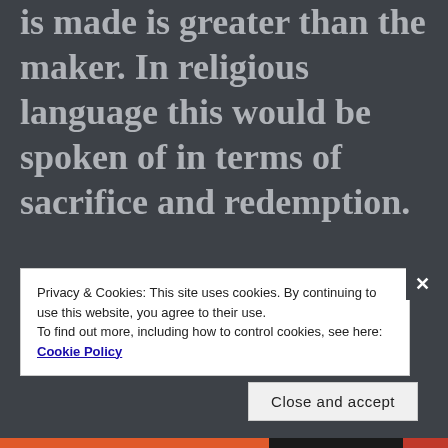is made is greater than the maker. In religious language this would be spoken of in terms of sacrifice and redemption.

The artist is the most individual of all people
Privacy & Cookies: This site uses cookies. By continuing to use this website, you agree to their use.
To find out more, including how to control cookies, see here: Cookie Policy
Close and accept